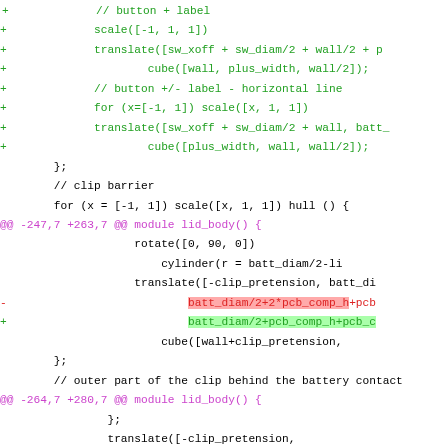[Figure (screenshot): A code diff view showing changes to an OpenSCAD file. Lines with '+' are green (additions), lines with '-' are red (deletions), and @@ hunk headers are magenta. Some inline text has red/green highlighting to show specific changed tokens. The code relates to a 3D model with battery, PCB components, and lid body functions.]